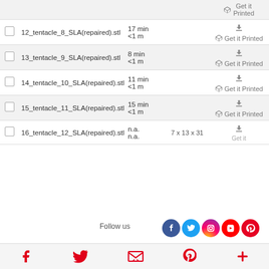|  | Name | Time | Size | Actions |
| --- | --- | --- | --- | --- |
| ☐ | 12_tentacle_8_SLA(repaired).stl | 17 min
<1 m |  | ↓ Get it Printed |
| ☐ | 13_tentacle_9_SLA(repaired).stl | 8 min
<1 m |  | ↓ Get it Printed |
| ☐ | 14_tentacle_10_SLA(repaired).stl | 11 min
<1 m |  | ↓ Get it Printed |
| ☐ | 15_tentacle_11_SLA(repaired).stl | 15 min
<1 m |  | ↓ Get it Printed |
| ☐ | 16_tentacle_12_SLA(repaired).stl | n.a.
n.a. | 7 x 13 x 31 | ↓ Get it Printed |
Follow us  [Facebook] [Twitter] [Instagram] [YouTube] [Pinterest]